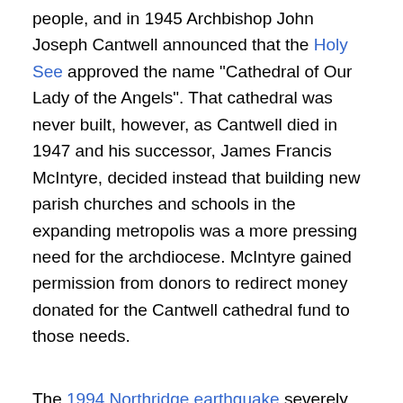people, and in 1945 Archbishop John Joseph Cantwell announced that the Holy See approved the name "Cathedral of Our Lady of the Angels". That cathedral was never built, however, as Cantwell died in 1947 and his successor, James Francis McIntyre, decided instead that building new parish churches and schools in the expanding metropolis was a more pressing need for the archdiocese. McIntyre gained permission from donors to redirect money donated for the Cantwell cathedral fund to those needs.
The 1994 Northridge earthquake severely damaged the Cathedral of Saint Vibiana, which led the archdiocese to close the cathedral due to safety concerns. In January 1995 the archdiocese announced plans to build a new cathedral on the Saint Vibiana site, plans which